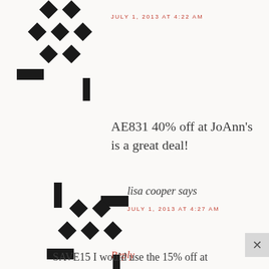[Figure (illustration): User avatar made of diamond shapes and rectangles in black]
JULY 1, 2013 AT 4:22 AM
AE831 40% off at JoAnn's is a great deal!
Reply
[Figure (illustration): User avatar made of diamond shapes and rectangles in black for lisa cooper]
lisa cooper says
JULY 1, 2013 AT 4:27 AM
SAVE15 I would use the 15% off at